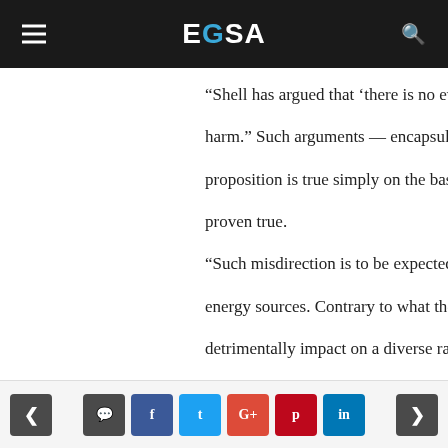EGSA
“Shell has argued that ‘there is no evi harm.” Such arguments — encapsulat proposition is true simply on the basis proven true.
“Such misdirection is to be expected o energy sources. Contrary to what the detrimentally impact on a diverse rang reptiles,” they said, listing several ref
However, the relative paucity of data Instead, it highlighted the need for mo
The mere fact that seismic surveys ha
< comment f t G+ p in >